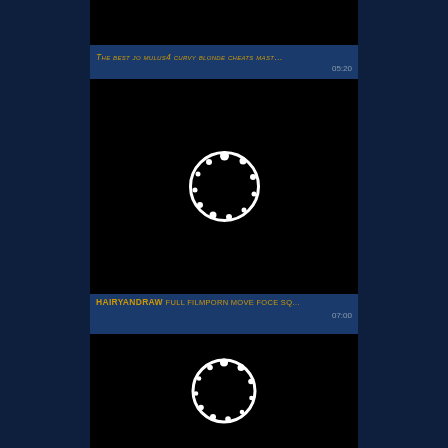[Figure (screenshot): Video thumbnail - black background with loading spinner icon (white circle with dots)]
The best jo mulus4 curvy blonde cheats mast…
05:20
[Figure (screenshot): Video thumbnail - black background with loading spinner icon (white circle with dots)]
HAIRYANDRAW full filmporn move foce sq…
07:00
[Figure (screenshot): Video thumbnail - black background with loading spinner icon (white circle with dots)]